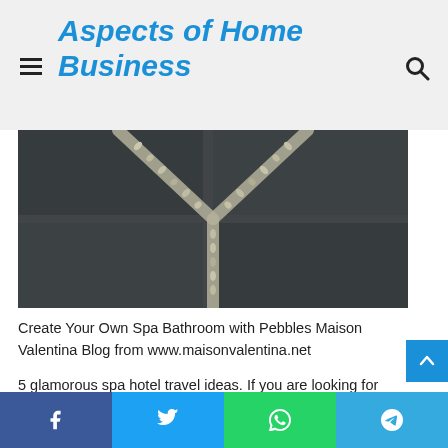Aspects of Home Business
[Figure (photo): Stone tiles with pebble borders in a V/chevron pattern, in dark grey stone, resembling a spa bathroom floor.]
Create Your Own Spa Bathroom with Pebbles Maison Valentina Blog from www.maisonvalentina.net
5 glamorous spa hotel travel ideas. If you are looking for easy ways to upgrade your bathroom, you should consider installing floating shelves. Home spa bathroom design ideas.